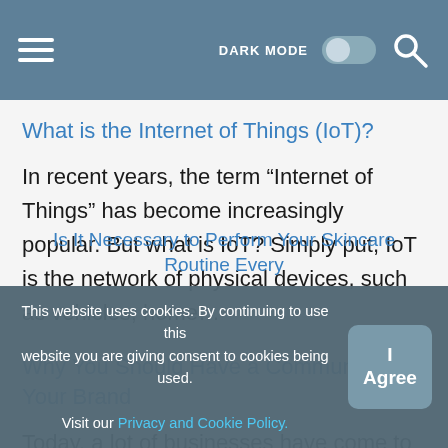DARK MODE [toggle] [search]
What is the Internet of Things (IoT)?
In recent years, the term “Internet of Things” has become increasingly popular. But what is IoT? Simply put, IoT is the network of physical devices, such as vehicles, home…
Why You Should Have a Community for Your Brand
Today, a lot of businesses have come to the conclusion that building a brand community is essential. Philippe Anders' founder, Andrey Anders, spoke at the marketing forum about the…
This website uses cookies. By continuing to use this website you are giving consent to cookies being used. Visit our Privacy and Cookie Policy.
Is It Necessary to Perform Your Skincare Routine Every